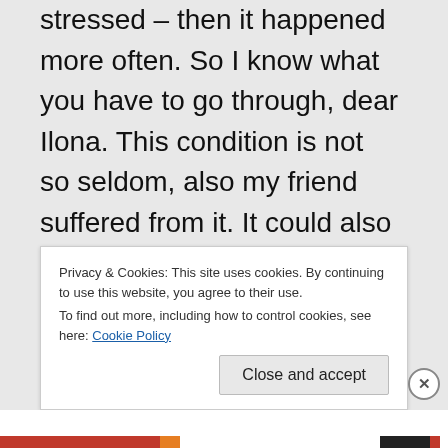stressed – then it happened more often. So I know what you have to go through, dear Ilona. This condition is not so seldom, also my friend suffered from it. It could also be that it is a lack of oxygen that overnight we could use a kind of mask that gives us more oxygen. Hope you will not suffer from
Privacy & Cookies: This site uses cookies. By continuing to use this website, you agree to their use. To find out more, including how to control cookies, see here: Cookie Policy